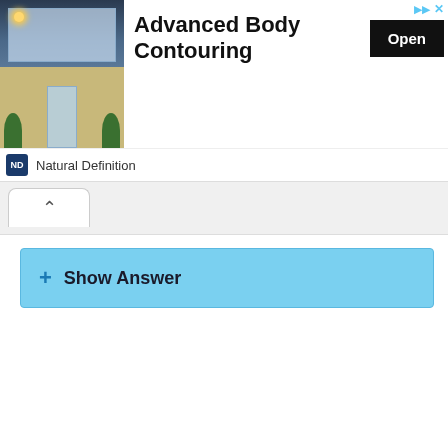[Figure (photo): Advertisement banner showing a storefront photo on the left, bold text 'Advanced Body Contouring' in the center, an 'Open' button on the right, skip arrow and X icons in top-right, and a Natural Definition logo with brand name at the bottom.]
Natural Definition
Show Answer